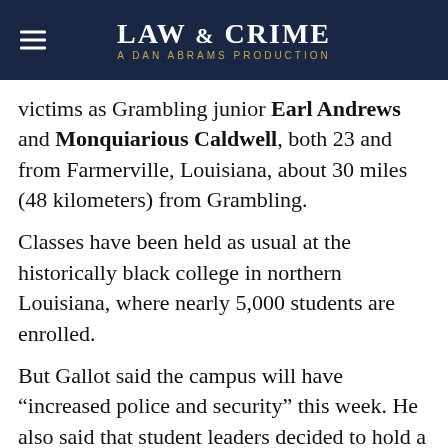LAW & CRIME — A DAN ABRAMS PRODUCTION
victims as Grambling junior Earl Andrews and Monquiarious Caldwell, both 23 and from Farmerville, Louisiana, about 30 miles (48 kilometers) from Grambling.
Classes have been held as usual at the historically black college in northern Louisiana, where nearly 5,000 students are enrolled.
But Gallot said the campus will have “increased police and security” this week. He also said that student leaders decided to hold a “peace walk” on Friday instead of a homecoming pep rally.